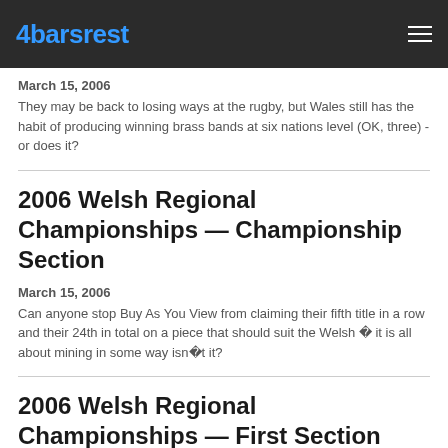4barsrest
March 15, 2006
They may be back to losing ways at the rugby, but Wales still has the habit of producing winning brass bands at six nations level (OK, three) - or does it?
2006 Welsh Regional Championships — Championship Section
March 15, 2006
Can anyone stop Buy As You View from claiming their fifth title in a row and their 24th in total on a piece that should suit the Welsh � it is all about mining in some way isn�t it?
2006 Welsh Regional Championships — First Section